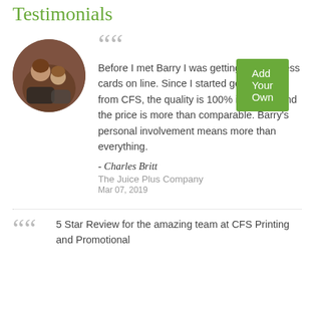Testimonials
Add Your Own
Before I met Barry I was getting my business cards on line. Since I started getting them from CFS, the quality is 100% improved and the price is more than comparable. Barry's personal involvement means more than everything.
- Charles Britt
The Juice Plus Company
Mar 07, 2019
5 Star Review for the amazing team at CFS Printing and Promotional